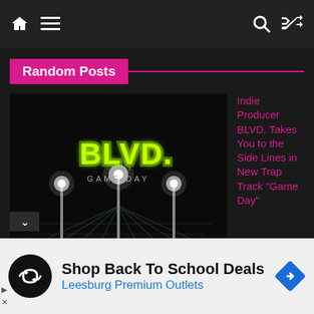Navigation bar with home, menu, search, and shuffle icons
Random Posts
[Figure (photo): Music album cover art for BLVD. 'Game Day' — neon green BLVD. logo text on a dark night scene with stadium lights and a parking lot or field.]
Indie Producer BLVD. Takes You to the Side Lines in New Trap Track “Game Day”
Shop Back To School Deals
Leesburg Premium Outlets